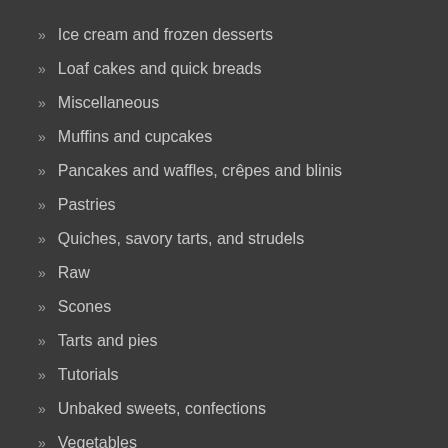Ice cream and frozen desserts
Loaf cakes and quick breads
Miscellaneous
Muffins and cupcakes
Pancakes and waffles, crêpes and blinis
Pastries
Quiches, savory tarts, and strudels
Raw
Scones
Tarts and pies
Tutorials
Unbaked sweets, confections
Vegetables
Yeasted sweets